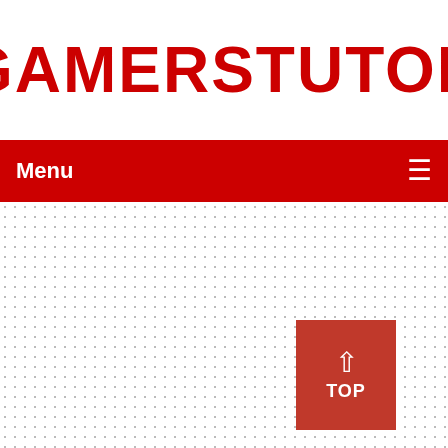GAMERSTUTOR
Menu ≡
[Figure (screenshot): Dotted background area with a red 'TOP' back-to-top button containing an upward chevron arrow and the word TOP]
[Figure (other): Small downward chevron arrow at the bottom center of the page]